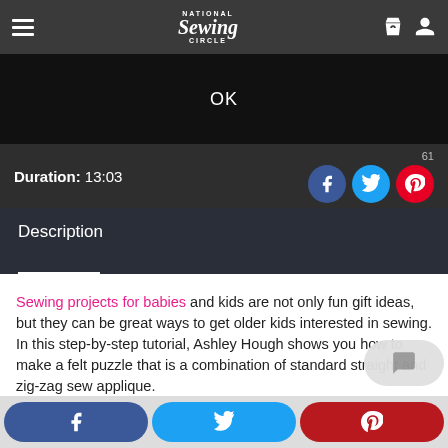National Sewing Circle
[Figure (screenshot): Video player area showing OK text on black background]
Duration: 13:03
61
Description
Sewing projects for babies and kids are not only fun gift ideas, but they can be great ways to get older kids interested in sewing. In this step-by-step tutorial, Ashley Hough shows you how to make a felt puzzle that is a combination of standard straight and zig-zag sewing and applique.